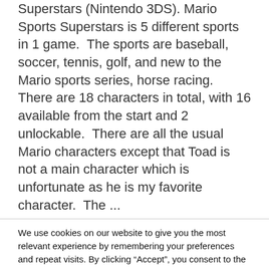Superstars (Nintendo 3DS). Mario Sports Superstars is 5 different sports in 1 game.  The sports are baseball, soccer, tennis, golf, and new to the Mario sports series, horse racing. There are 18 characters in total, with 16 available from the start and 2 unlockable.  There are all the usual Mario characters except that Toad is not a main character which is unfortunate as he is my favorite character.  The ...
We use cookies on our website to give you the most relevant experience by remembering your preferences and repeat visits. By clicking “Accept”, you consent to the use of ALL the cookies.
Do not sell my personal information.
Settings
Accept